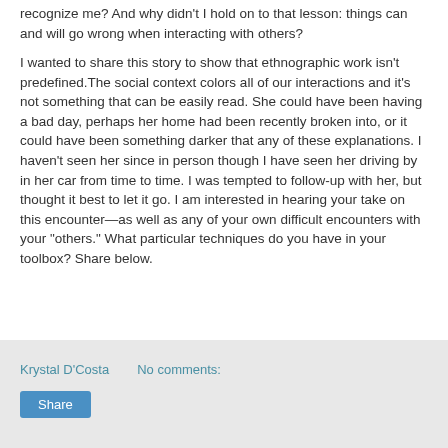recognize me? And why didn't I hold on to that lesson: things can and will go wrong when interacting with others?
I wanted to share this story to show that ethnographic work isn't predefined.The social context colors all of our interactions and it's not something that can be easily read. She could have been having a bad day, perhaps her home had been recently broken into, or it could have been something darker that any of these explanations. I haven't seen her since in person though I have seen her driving by in her car from time to time. I was tempted to follow-up with her, but thought it best to let it go. I am interested in hearing your take on this encounter—as well as any of your own difficult encounters with your "others." What particular techniques do you have in your toolbox? Share below.
Krystal D'Costa   No comments:   Share